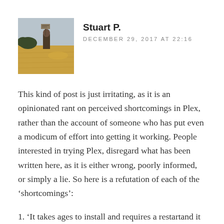[Figure (photo): Avatar photo of Stuart P. showing a person in a field with a yellow/golden background and a sign]
Stuart P.
DECEMBER 29, 2017 AT 22:16
This kind of post is just irritating, as it is an opinionated rant on perceived shortcomings in Plex, rather than the account of someone who has put even a modicum of effort into getting it working. People interested in trying Plex, disregard what has been written here, as it is either wrong, poorly informed, or simply a lie. So here is a refutation of each of the ‘shortcomings’:
1. ‘It takes ages to install and requires a restartand it freezes and blah, blah, blah...’ This is a combination of two factors. Firstly, if it does 15 mins to install, and you are above minimum requirements, then your PC’s operating system